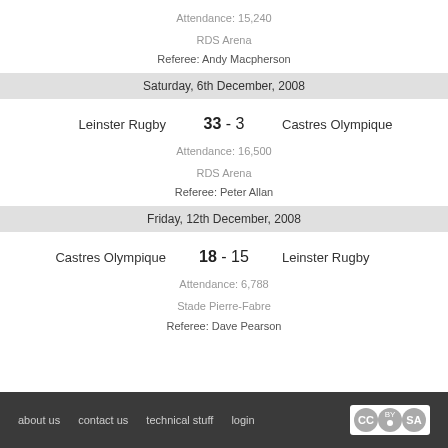Attendance: 15,240
RDS Arena
Referee: Andy Macpherson
Saturday, 6th December, 2008
Leinster Rugby  33 - 3  Castres Olympique
Attendance: 16,500
RDS Arena
Referee: Peter Allan
Friday, 12th December, 2008
Castres Olympique  18 - 15  Leinster Rugby
Attendance: 6,788
Stade Pierre-Fabre
Referee: Dave Pearson
about us  contact us  technical stuff  login